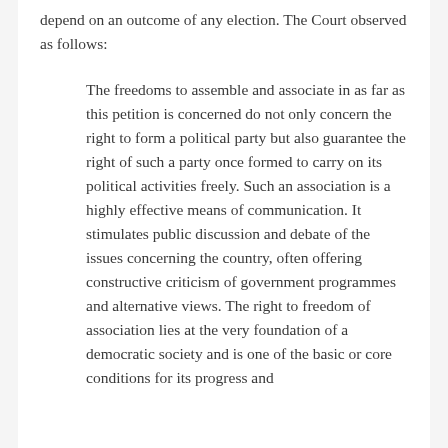depend on an outcome of any election. The Court observed as follows:
The freedoms to assemble and associate in as far as this petition is concerned do not only concern the right to form a political party but also guarantee the right of such a party once formed to carry on its political activities freely. Such an association is a highly effective means of communication. It stimulates public discussion and debate of the issues concerning the country, often offering constructive criticism of government programmes and alternative views. The right to freedom of association lies at the very foundation of a democratic society and is one of the basic or core conditions for its progress and